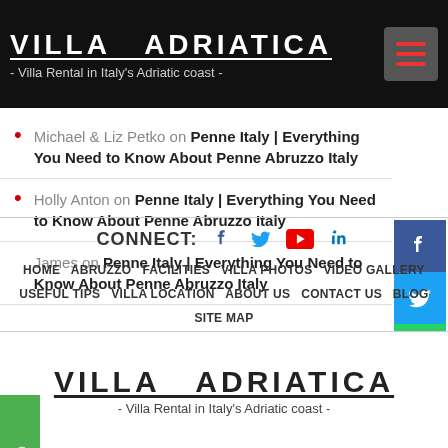VILLA ADRIATICA - Villa Rental in Italy's Adriatic coast -
Michael & Liz Petko on Penne Italy | Everything You Need to Know About Penne Abruzzo Italy
Holly Anton on Penne Italy | Everything You Need to Know About Penne Abruzzo Italy
James on Penne Italy | Everything You Need to Know About Penne Abruzzo Italy
CONNECT: [Facebook] [Twitter] [YouTube] [LinkedIn]
HOME  ABRUZZO  FACILITIES  VILLA PHOTOS  VIDEO GALLERY  USEFUL TIPS  VILLA LOCATION  ABOUT US  CONTACT US  BLOG  SITE MAP
VILLA ADRIATICA - Villa Rental in Italy's Adriatic coast -